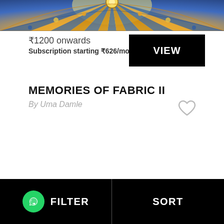[Figure (photo): Decorative mosaic or tile ceiling with ornate floral patterns in blues, yellows, and oranges — architectural detail from an Islamic building]
₹1200 onwards
Subscription starting ₹626/mo
VIEW
MEMORIES OF FABRIC II
By Uma Damle
[Figure (illustration): Heart outline (like/favorite) icon in light grey]
FILTER
SORT